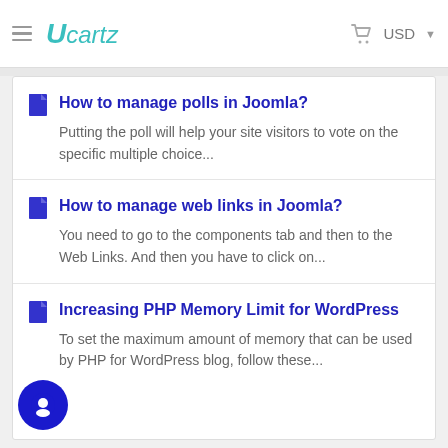Ucartz — USD
How to manage polls in Joomla? — Putting the poll will help your site visitors to vote on the specific multiple choice...
How to manage web links in Joomla? — You need to go to the components tab and then to the Web Links. And then you have to click on...
Increasing PHP Memory Limit for WordPress — To set the maximum amount of memory that can be used by PHP for WordPress blog, follow these...